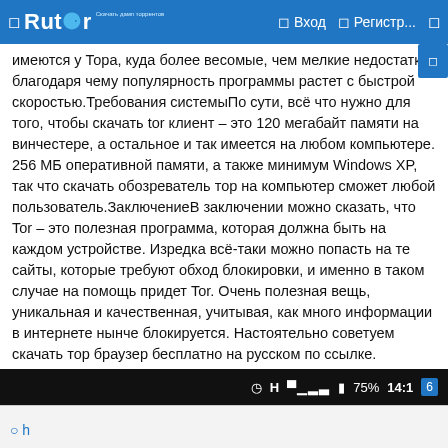Rutor | Вход | Регистр...
имеются у Тора, куда более весомые, чем мелкие недостатки, благодаря чему популярность программы растет с быстрой скоростью.Требования системыПо сути, всё что нужно для того, чтобы скачать tor клиент – это 120 мегабайт памяти на винчестере, а остальное и так имеется на любом компьютере. 256 МБ оперативной памяти, а также минимум Windows XP, так что скачать обозреватель тор на компьютер сможет любой пользователь.ЗаключениеВ заключении можно сказать, что Tor – это полезная программа, которая должна быть на каждом устройстве. Изредка всё-таки можно попасть на те сайты, которые требуют обход блокировки, и именно в таком случае на помощь придет Tor. Очень полезная вещь, уникальная и качественная, учитывая, как много информации в интернете нынче блокируется. Настоятельно советуем скачать тор браузер бесплатно на русском по ссылке.
75% 14:1